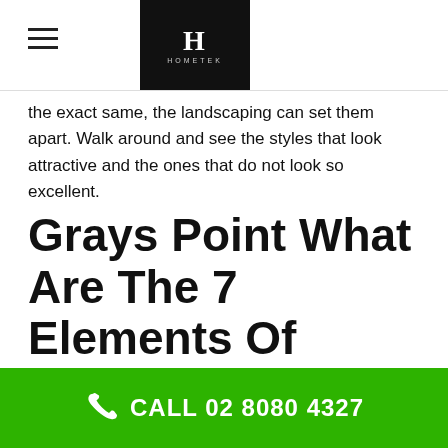Hometek — navigation header with logo
...there are some towns where all the homes look the exact same, the landscaping can set them apart. Walk around and see the styles that look attractive and the ones that do not look so excellent.
Grays Point What Are The 7 Elements Of Landscape Design?
Table of Contents [show]
Various plants will require different levels of maintenance. If not they need plants that are easy to take care of.
CALL 02 8080 4327